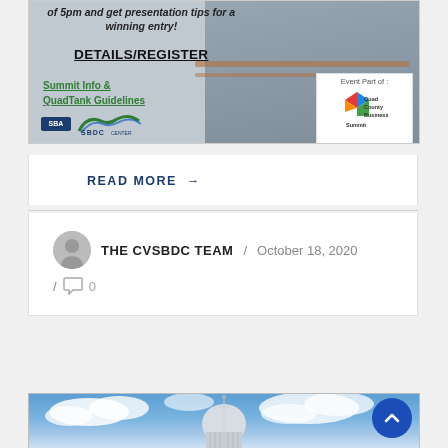[Figure (infographic): Event promotional image for Quad County Business Summit featuring DETAILS/REGISTER link, Summit Info & QuadTank Guidelines link, SBA and SBDC logos, and Quad County Business Summit logo. Background shows a person figure.]
READ MORE →
THE CVSBDC TEAM / October 18, 2020 / 0 comments
[Figure (photo): Photo of the United States Capitol building dome against a blue sky with white clouds]